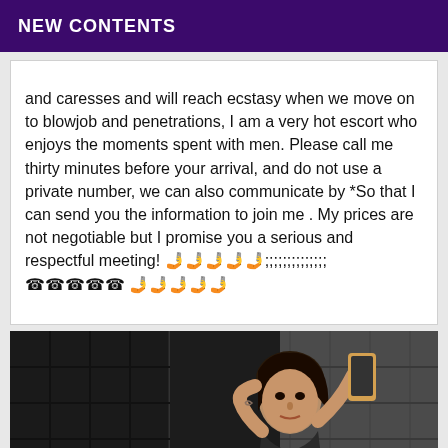NEW CONTENTS
and caresses and will reach ecstasy when we move on to blowjob and penetrations, I am a very hot escort who enjoys the moments spent with men. Please call me thirty minutes before your arrival, and do not use a private number, we can also communicate by *So that I can send you the information to join me . My prices are not negotiable but I promise you a serious and respectful meeting! 📱📱📱📱📱;;;;;;;;;;;;;; ☎☎☎☎☎ 📱📱📱📱📱
[Figure (photo): Selfie photo of a young woman with dark hair taking a mirror selfie in a bathroom with dark tile walls, holding a gold iPhone]